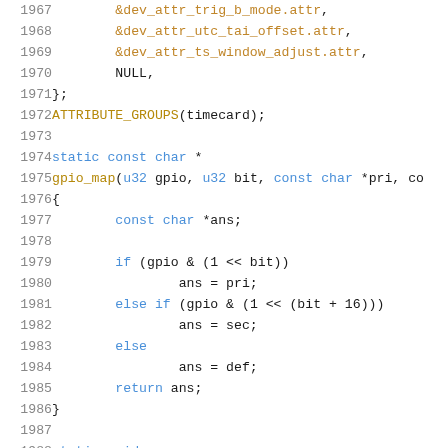[Figure (screenshot): Source code listing in C, lines 1967-1988, showing device attribute array definition and gpio_map function with syntax highlighting. Line numbers in grey on left, keywords in blue, identifiers in orange/gold, plain code in dark.]